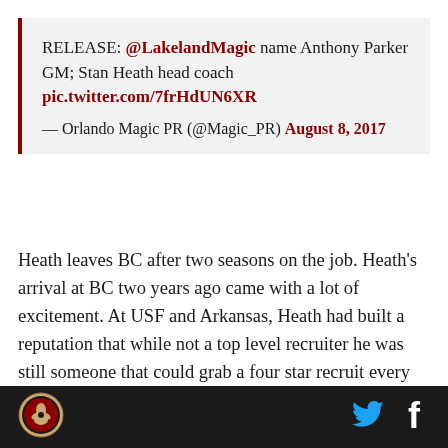RELEASE: @LakelandMagic name Anthony Parker GM; Stan Heath head coach pic.twitter.com/7frHdUN6XR — Orlando Magic PR (@Magic_PR) August 8, 2017
Heath leaves BC after two seasons on the job. Heath's arrival at BC two years ago came with a lot of excitement. At USF and Arkansas, Heath had built a reputation that while not a top level recruiter he was still someone that could grab a four star recruit every now and then. On top of that, Heath was known as a defensive specialist and someone that could t...
[Figure (logo): Circular sports team logo with red and white design on dark background]
[Figure (logo): Twitter bird icon in cyan/blue]
[Figure (logo): Facebook f icon in white]